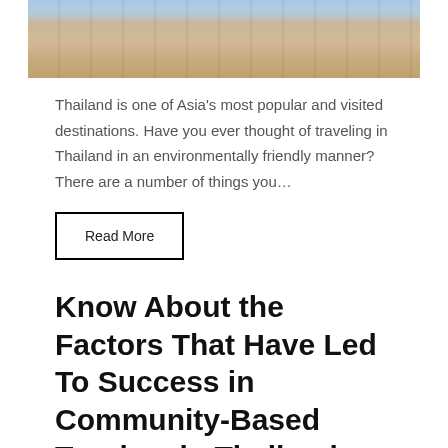[Figure (photo): Beach scene with people walking on sandy beach, partial view from top]
Thailand is one of Asia's most popular and visited destinations. Have you ever thought of traveling in Thailand in an environmentally friendly manner? There are a number of things you…
Read More
Know About the Factors That Have Led To Success in Community-Based Tourism in Thailand
March 27, 2022